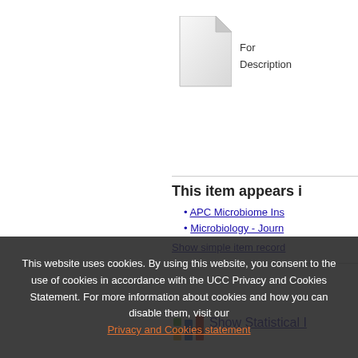[Figure (illustration): Generic file/document icon - white folded paper with gray gradient]
For
Description
This item appears i
APC Microbiome Ins
Microbiology - Journ
Show simple item record
[Figure (illustration): Colorful bar chart statistics icon]
Show Statistical I
This website uses cookies. By using this website, you consent to the use of cookies in accordance with the UCC Privacy and Cookies Statement. For more information about cookies and how you can disable them, visit our Privacy and Cookies statement